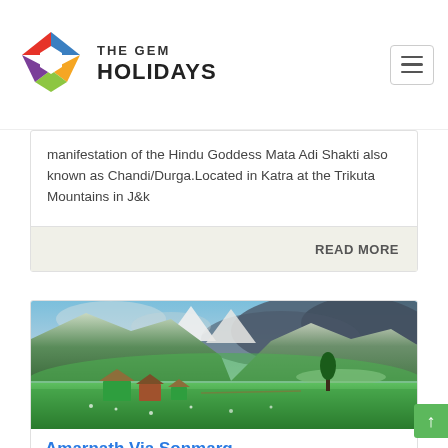THE GEM HOLIDAYS
manifestation of the Hindu Goddess Mata Adi Shakti also known as Chandi/Durga.Located in Katra at the Trikuta Mountains in J&k
READ MORE
[Figure (photo): Scenic mountain valley with lush green meadows, traditional huts, and mountain backdrop — likely Kashmir, India]
Amarnath Via Sonmarg
5 Days-4 Nights